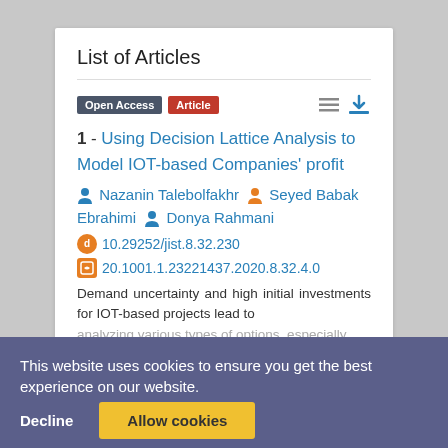List of Articles
Open Access  Article
1 - Using Decision Lattice Analysis to Model IOT-based Companies' profit
Nazanin Talebolfakhr  Seyed Babak Ebrahimi  Donya Rahmani
10.29252/jist.8.32.230
20.1001.1.23221437.2020.8.32.4.0
Demand uncertainty and high initial investments for IOT-based projects lead to analyzing various types of options, especially real options in project execution to decrease these uncertainties. In this study, we investigate the firms' profit that resulted from More
This website uses cookies to ensure you get the best experience on our website.
Decline
Allow cookies